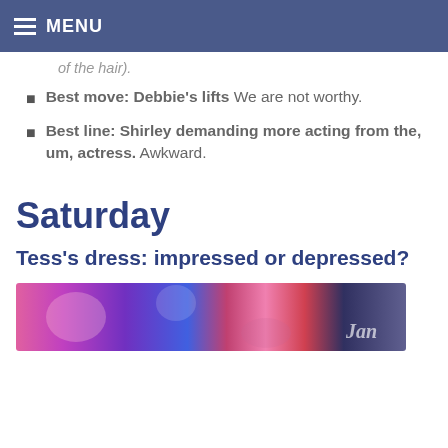MENU
of the hair).
Best move: Debbie's lifts We are not worthy.
Best line: Shirley demanding more acting from the, um, actress. Awkward.
Saturday
Tess's dress: impressed or depressed?
[Figure (photo): A colorful concert/stage photo with pink, purple, blue lighting. Partially visible text on right side.]